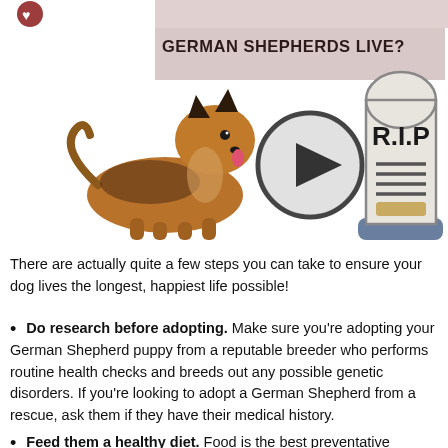GERMAN SHEPHERDS LIVE?
[Figure (illustration): German Shepherd dog lying down on the left, a play button circle icon in the center, and a tombstone with R.I.P on the right. Also a small heart/logo icon at top left.]
There are actually quite a few steps you can take to ensure your dog lives the longest, happiest life possible!
Do research before adopting. Make sure you're adopting your German Shepherd puppy from a reputable breeder who performs routine health checks and breeds out any possible genetic disorders. If you're looking to adopt a German Shepherd from a rescue, ask them if they have their medical history.
Feed them a healthy diet. Food is the best preventative